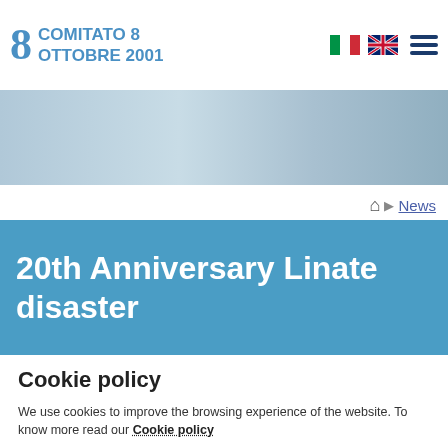COMITATO 8 OTTOBRE 2001
[Figure (screenshot): Website header with logo showing number 8 and text COMITATO 8 OTTOBRE 2001 in blue, with Italian and UK flag icons and hamburger menu on the right, over a grey-blue hero photo background]
News
20th Anniversary Linate disaster
Cookie policy
We use cookies to improve the browsing experience of the website. To know more read our Cookie policy
Accept
Settings